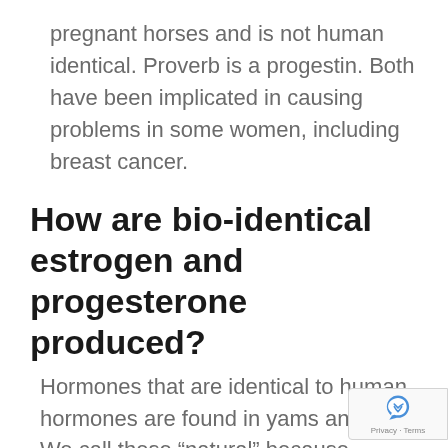pregnant horses and is not human identical. Proverb is a progestin. Both have been implicated in causing problems in some women, including breast cancer.
How are bio-identical estrogen and progesterone produced?
Hormones that are identical to human hormones are found in yams and soy. We call these “natural” because